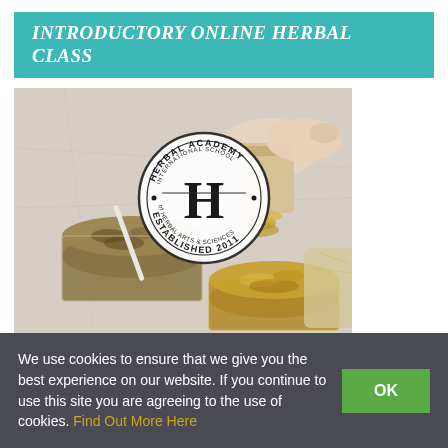INTRODUCTORY ONLINE HERBAL CLASS
[Figure (photo): Overhead view of hands measuring and pouring herbal/botanical dried flowers from a small bag into a glass jar on a marble surface, with the Herbal Academy International School of Herbal Arts & Sciences circular logo overlaid, established 2011.]
We use cookies to ensure that we give you the best experience on our website. If you continue to use this site you are agreeing to the use of cookies. Find Out More Here